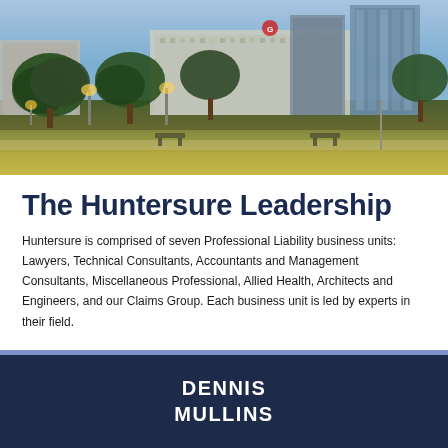[Figure (photo): City skyline photograph at dusk showing office buildings, green trees, park area with street lights, and grass in the foreground]
The Huntersure Leadership
Huntersure is comprised of seven Professional Liability business units: Lawyers, Technical Consultants, Accountants and Management Consultants, Miscellaneous Professional, Allied Health, Architects and Engineers, and our Claims Group. Each business unit is led by experts in their field.
DENNIS MULLINS